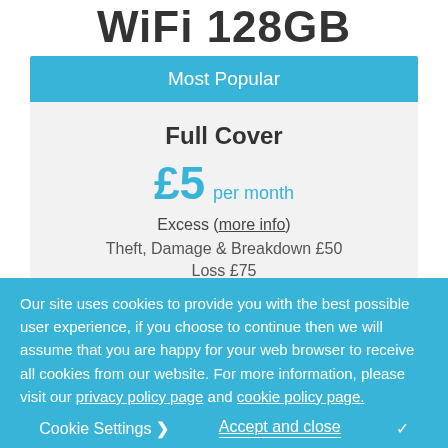WiFi 128GB
Most Popular
Full Cover
£5 per month
Excess (more info)
Theft, Damage & Breakdown £50
Loss £75
Our site uses cookies to provide you with the best possible user experience, if you choose to continue then we will assume that you are happy for your web browser to receive all cookies from our website. For more information, please visit our privacy policy page and cookie policy page.
Cookie Settings ❯
Accept and close ✓